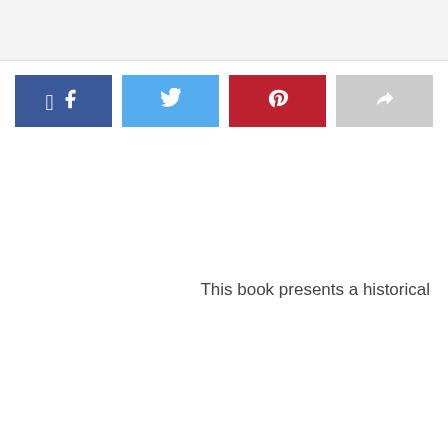[Figure (screenshot): Top gray bar area, likely a webpage header region]
[Figure (other): Row of four social share buttons: Facebook (blue), Twitter (light blue), Pinterest (red), and a generic share button (gray)]
This book presents a historical